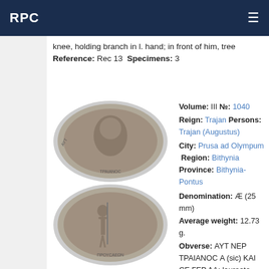RPC
knee, holding branch in l. hand; in front of him, tree Reference: Rec 13 Specimens: 3
Volume: III №: 1040 Reign: Trajan Persons: Trajan (Augustus) City: Prusa ad Olympum Region: Bithynia Province: Bithynia-Pontus Denomination: Æ (25 mm) Average weight: 12.73 g. Obverse: ΑΥΤ ΝΕΡ ΤΡΑΙΑΝΟC Α (sic) ΚΑΙ CE ΓΕΡ ΔΑ; laureate head of Trajan, r., with drapery on l. shoulder Reverse: ΠΡΟΥCΑΕΩΝ; Athena standing facing, head l., holding spear on her r. shoulder, her l. hand resting
[Figure (photo): Two ancient Roman coins: obverse showing laureate head of Trajan, reverse showing Athena standing facing.]